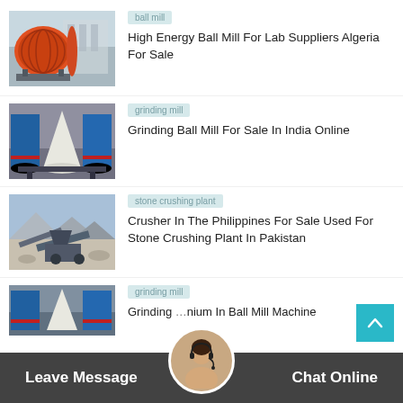[Figure (photo): Industrial ball mill machine, large orange/red cylindrical equipment in a factory setting]
ball mill
High Energy Ball Mill For Lab Suppliers Algeria For Sale
[Figure (photo): Grinding mill equipment - white cone-shaped mill with blue cylindrical machines in industrial setting]
grinding mill
Grinding Ball Mill For Sale In India Online
[Figure (photo): Stone crushing plant with conveyor belts and machinery in rocky outdoor setting]
stone crushing plant
Crusher In The Philippines For Sale Used For Stone Crushing Plant In Pakistan
[Figure (photo): Blue grinding mill machines in industrial setting]
grinding mill
Grinding … nium In Ball Mill Machine
Leave Message   Chat Online